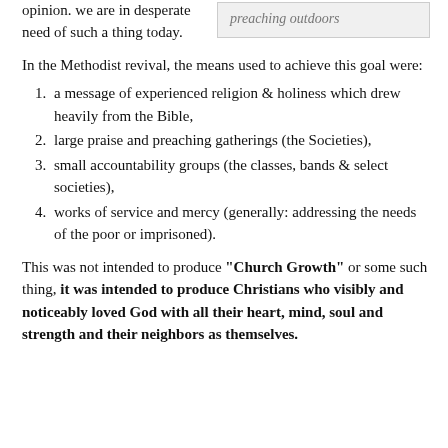opinion. we are in desperate need of such a thing today.
[Figure (other): Gray box with italic text: preaching outdoors]
In the Methodist revival, the means used to achieve this goal were:
1. a message of experienced religion & holiness which drew heavily from the Bible,
2. large praise and preaching gatherings (the Societies),
3. small accountability groups (the classes, bands & select societies),
4. works of service and mercy (generally: addressing the needs of the poor or imprisoned).
This was not intended to produce "Church Growth" or some such thing, it was intended to produce Christians who visibly and noticeably loved God with all their heart, mind, soul and strength and their neighbors as themselves.